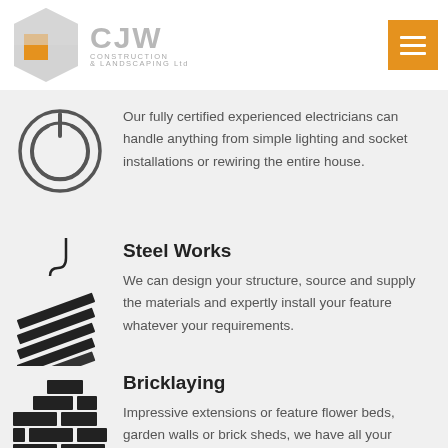CJW CONSTRUCTION & LANDSCAPING Ltd
[Figure (illustration): Electrical power symbol icon — circle with power button symbol inside]
Our fully certified experienced electricians can handle anything from simple lighting and socket installations or rewiring the entire house.
[Figure (illustration): Steel crane/girder construction icon — black silhouette of crane lifting steel beams]
Steel Works
We can design your structure, source and supply the materials and expertly install your feature whatever your requirements.
[Figure (illustration): Bricklaying icon — black silhouette of stacked bricks]
Bricklaying
Impressive extensions or feature flower beds, garden walls or brick sheds, we have all your bricklaying needs met.